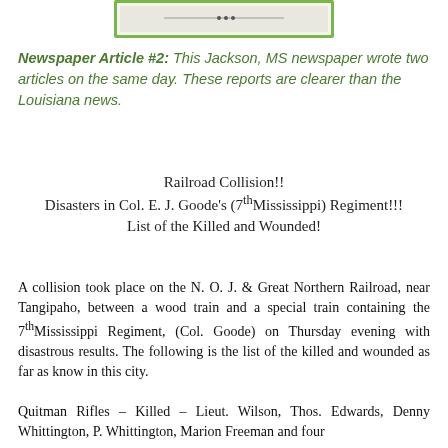[Figure (screenshot): Small screenshot of a newspaper page header with green border]
Newspaper Article #2: This Jackson, MS newspaper wrote two articles on the same day. These reports are clearer than the Louisiana news.
Railroad Collision!!
Disasters in Col. E. J. Goode's (7th Mississippi) Regiment!!!
List of the Killed and Wounded!
A collision took place on the N. O. J. & Great Northern Railroad, near Tangipaho, between a wood train and a special train containing the 7th Mississippi Regiment, (Col. Goode) on Thursday evening with disastrous results. The following is the list of the killed and wounded as far as know in this city.
Quitman Rifles – Killed – Lieut. Wilson, Thos. Edwards, Denny Whittington, P. Whittington, Marion Freeman and four others unknown – Wounded – A. J. Dalton, A. B...